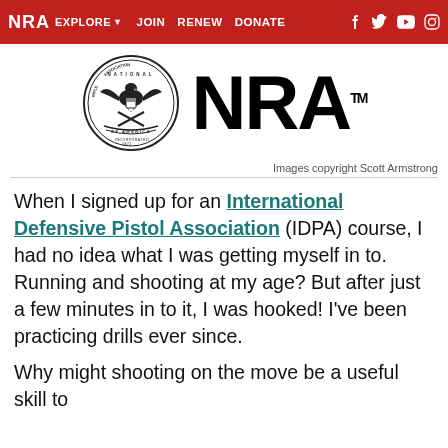NRA EXPLORE ▾  JOIN  RENEW  DONATE  [social icons: Facebook, Twitter, YouTube, Instagram]
[Figure (logo): NRA National Rifle Association of America seal (circular emblem with eagle) alongside large bold text NRA with TM superscript]
Images copyright Scott Armstrong
When I signed up for an International Defensive Pistol Association (IDPA) course, I had no idea what I was getting myself in to. Running and shooting at my age? But after just a few minutes in to it, I was hooked! I've been practicing drills ever since.
Why might shooting on the move be a useful skill to